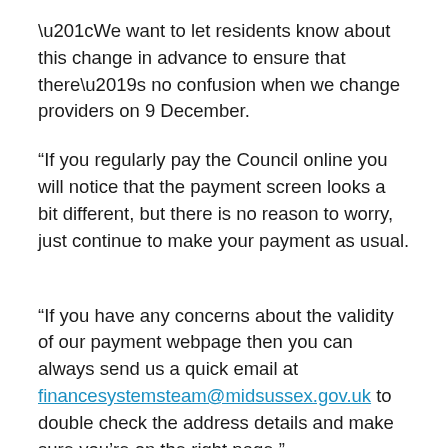“We want to let residents know about this change in advance to ensure that there’s no confusion when we change providers on 9 December.
“If you regularly pay the Council online you will notice that the payment screen looks a bit different, but there is no reason to worry, just continue to make your payment as usual.
“If you have any concerns about the validity of our payment webpage then you can always send us a quick email at financesystemsteam@midsussex.gov.uk to double check the address details and make sure you’re on the right page.”